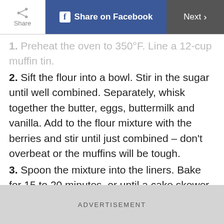Share | Share on Facebook | Next
1. Preheat the oven to 350°F. Line a 12-cup muffin tin.
2. Sift the flour into a bowl. Stir in the sugar until well combined. Separately, whisk together the butter, eggs, buttermilk and vanilla. Add to the flour mixture with the berries and stir until just combined – don't overbeat or the muffins will be tough.
3. Spoon the mixture into the liners. Bake for 15 to 20 minutes, or until a cake skewer inserted into the centre of a muffin comes out clean. Transfer to a wire rack to cool.
ADVERTISEMENT